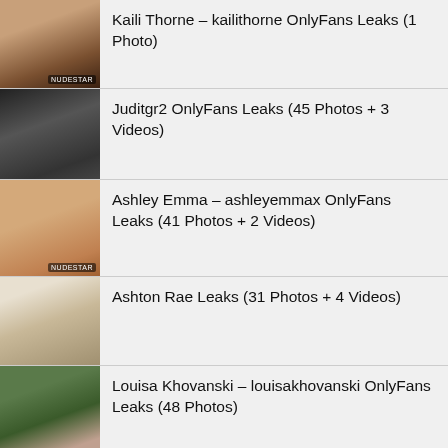Kaili Thorne – kailithorne OnlyFans Leaks (1 Photo)
Juditgr2 OnlyFans Leaks (45 Photos + 3 Videos)
Ashley Emma – ashleyemmax OnlyFans Leaks (41 Photos + 2 Videos)
Ashton Rae Leaks (31 Photos + 4 Videos)
Louisa Khovanski – louisakhovanski OnlyFans Leaks (48 Photos)